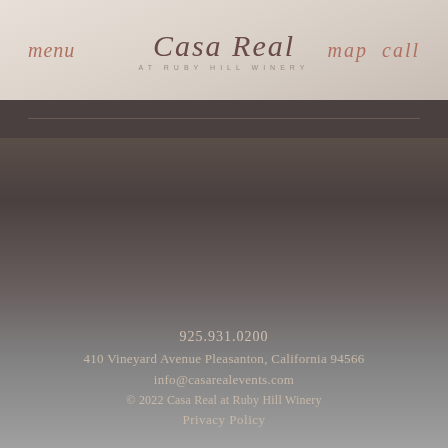menu  Casa Real AT RUBY HILL WINERY  map call
Fun Nature Day with Guests
Livermore Valley Wine Country Experience Day
Shop the Day Away
925.931.0200
410 Vineyard Avenue Pleasanton, California 94566
info@casarealevents.com
© 2022 Casa Real at Ruby Hill Winery
Privacy Policy